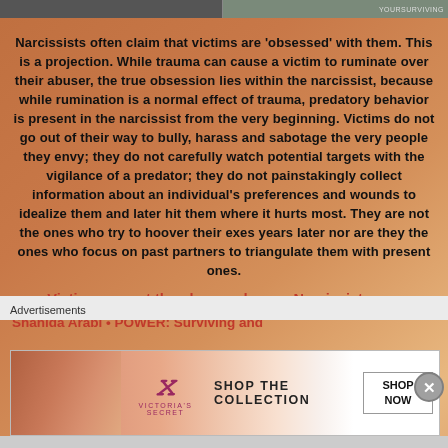[Figure (infographic): Motivational/educational text card on a warm orange-brown gradient background discussing narcissism and victim psychology, with a Victoria's Secret advertisement below it.]
Narcissists often claim that victims are 'obsessed' with them. This is a projection. While trauma can cause a victim to ruminate over their abuser, the true obsession lies within the narcissist, because while rumination is a normal effect of trauma, predatory behavior is present in the narcissist from the very beginning. Victims do not go out of their way to bully, harass and sabotage the very people they envy; they do not carefully watch potential targets with the vigilance of a predator; they do not painstakingly collect information about an individual's preferences and wounds to idealize them and later hit them where it hurts most. They are not the ones who try to hoover their exes years later nor are they the ones who focus on past partners to triangulate them with present ones.
Victims are not the obsessed ones. Narcissists are.
Shahida Arabi • POWER: Surviving and
Advertisements
[Figure (infographic): Victoria's Secret advertisement banner showing a woman's face on the left, the VS logo in the center-left, 'SHOP THE COLLECTION' text, and a 'SHOP NOW' button on the right.]